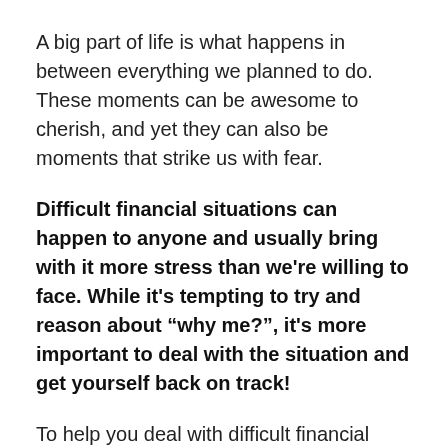A big part of life is what happens in between everything we planned to do. These moments can be awesome to cherish, and yet they can also be moments that strike us with fear.
Difficult financial situations can happen to anyone and usually bring with it more stress than we're willing to face. While it's tempting to try and reason about “why me?”, it's more important to deal with the situation and get yourself back on track!
To help you deal with difficult financial situations, we've listed a couple of steps you can take to get back on track! Feel welcome to share it with a friend you know will appreciate the advice.